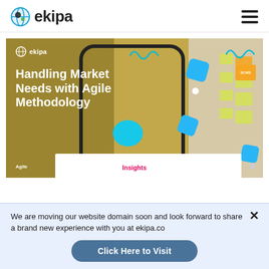ekipa
[Figure (illustration): Hero banner with golden/olive background showing a woman with red hair pointing at sticky notes on a wall (agile board). Text overlay reads 'Handling Market Needs with Agile Methodology'. Decorative teal squiggles, blue diamond shapes, and cyan blob. ekipa logo top-left. Insights label and Agile text at bottom.]
We are moving our website domain soon and look forward to share a brand new experience with you at ekipa.co
Click Here to Visit